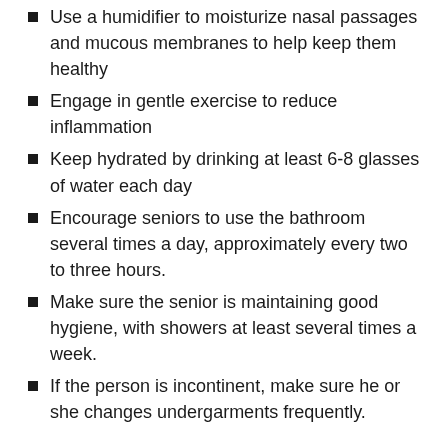Use a humidifier to moisturize nasal passages and mucous membranes to help keep them healthy
Engage in gentle exercise to reduce inflammation
Keep hydrated by drinking at least 6-8 glasses of water each day
Encourage seniors to use the bathroom several times a day, approximately every two to three hours.
Make sure the senior is maintaining good hygiene, with showers at least several times a week.
If the person is incontinent, make sure he or she changes undergarments frequently.
There are other articles on my blog that discuss how to support your memory and cognition. Please subscribe today, and feel free to send me your questions.
To your health,